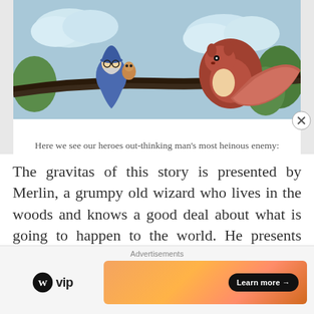[Figure (illustration): Animated cartoon scene showing characters (a wizard/Merlin and a squirrel) sitting on a tree branch, with a blue/green background of clouds and trees.]
Here we see our heroes out-thinking man's most heinous enemy: woman.
The gravitas of this story is presented by Merlin, a grumpy old wizard who lives in the woods and knows a good deal about what is going to happen to the world. He presents himself as a time traveler, someone who has seen trains and planes and the world years
Advertisements  WordPress VIP  Learn more →